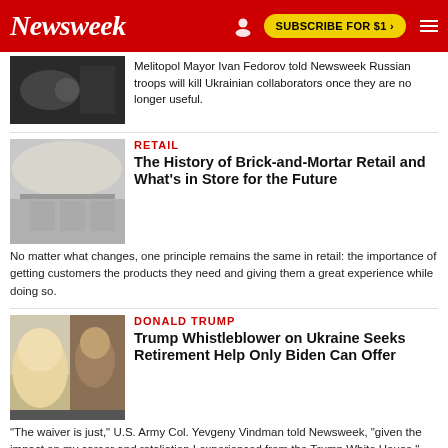Newsweek | SUBSCRIBE FOR $1 >
Melitopol Mayor Ivan Fedorov told Newsweek Russian troops will kill Ukrainian collaborators once they are no longer useful.
RETAIL
The History of Brick-and-Mortar Retail and What's in Store for the Future
No matter what changes, one principle remains the same in retail: the importance of getting customers the products they need and giving them a great experience while doing so.
DONALD TRUMP
Trump Whistleblower on Ukraine Seeks Retirement Help Only Biden Can Offer
"The waiver is just," U.S. Army Col. Yevgeny Vindman told Newsweek, "given the impact on my career and retaliation I experienced from the Trump White House."
DONALD TRUMP